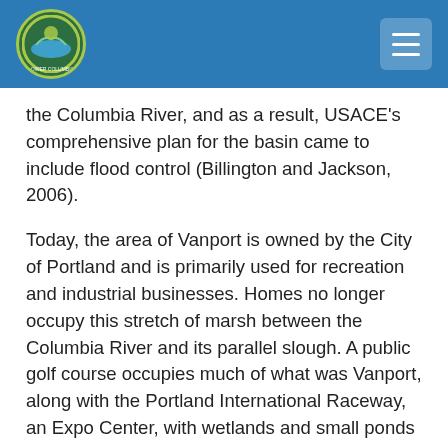[Logo] [Navigation menu button]
the Columbia River, and as a result, USACE's comprehensive plan for the basin came to include flood control (Billington and Jackson, 2006).
Today, the area of Vanport is owned by the City of Portland and is primarily used for recreation and industrial businesses. Homes no longer occupy this stretch of marsh between the Columbia River and its parallel slough. A public golf course occupies much of what was Vanport, along with the Portland International Raceway, an Expo Center, with wetlands and small ponds interspersed. Historical markers